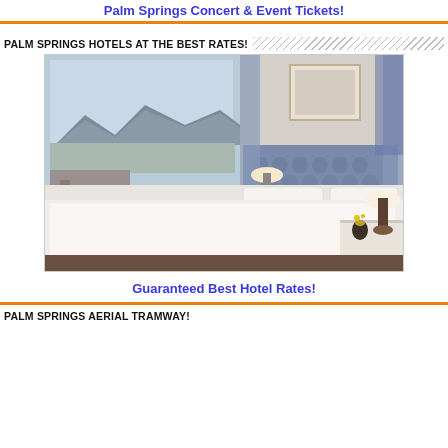Palm Springs Concert & Event Tickets!
PALM SPRINGS HOTELS AT THE BEST RATES!
[Figure (photo): Hotel room with large bed, white linens, blue patterned headboard, floor-to-ceiling windows with mountain and city view, blue area rug, nightstand with lamp and decorative vase.]
Guaranteed Best Hotel Rates!
PALM SPRINGS AERIAL TRAMWAY!